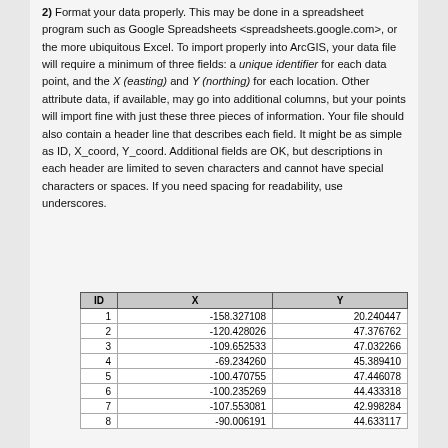2) Format your data properly. This may be done in a spreadsheet program such as Google Spreadsheets <spreadsheets.google.com>, or the more ubiquitous Excel. To import properly into ArcGIS, your data file will require a minimum of three fields: a unique identifier for each data point, and the X (easting) and Y (northing) for each location. Other attribute data, if available, may go into additional columns, but your points will import fine with just these three pieces of information. Your file should also contain a header line that describes each field. It might be as simple as ID, X_coord, Y_coord. Additional fields are OK, but descriptions in each header are limited to seven characters and cannot have special characters or spaces. If you need spacing for readability, use underscores.
| ID | X | Y |
| --- | --- | --- |
| 1 | -158.327108 | 20.240447 |
| 2 | -120.428026 | 47.376762 |
| 3 | -109.652533 | 47.032266 |
| 4 | -69.234260 | 45.389410 |
| 5 | -100.470755 | 47.446078 |
| 6 | -100.235269 | 44.433318 |
| 7 | -107.553081 | 42.998284 |
| 8 | -90.006191 | 44.633117 |